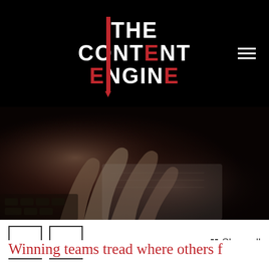[Figure (logo): The Content Engine logo — white bold text on black background with red vertical bar/pencil shape through the E letters. Text reads THE CONTENT ENGINE in three lines.]
[Figure (photo): Dark, moody photograph of a hand hovering over or touching papers/a keyboard. Strong shadow and contrast with dark red-brown tones.]
< > Show all
Winning teams tread where others f…